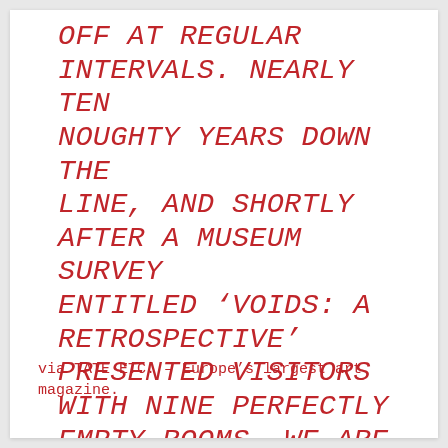OFF AT REGULAR INTERVALS. NEARLY TEN NOUGHTY YEARS DOWN THE LINE, AND SHORTLY AFTER A MUSEUM SURVEY ENTITLED ‘VOIDS: A RETROSPECTIVE’ PRESENTED VISITORS WITH NINE PERFECTLY EMPTY ROOMS, WE ARE STILL NONE THE WISER ABOUT “HOW MUCH LESS ‘NOTHING’ CAN BE”.
via TATE ETC. – Europe’s largest art magazine.